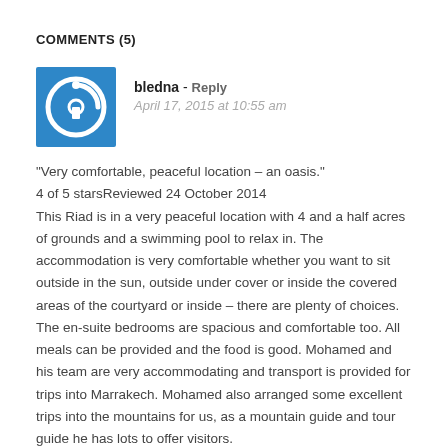COMMENTS (5)
bledna - Reply
April 17, 2015 at 10:55 am
“Very comfortable, peaceful location – an oasis.”
4 of 5 starsReviewed 24 October 2014
This Riad is in a very peaceful location with 4 and a half acres of grounds and a swimming pool to relax in. The accommodation is very comfortable whether you want to sit outside in the sun, outside under cover or inside the covered areas of the courtyard or inside – there are plenty of choices. The en-suite bedrooms are spacious and comfortable too. All meals can be provided and the food is good. Mohamed and his team are very accommodating and transport is provided for trips into Marrakech. Mohamed also arranged some excellent trips into the mountains for us, as a mountain guide and tour guide he has lots to offer visitors.